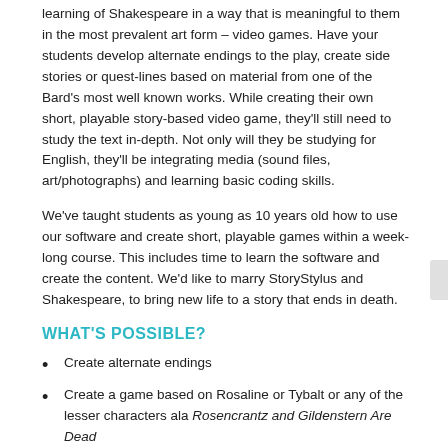learning of Shakespeare in a way that is meaningful to them in the most prevalent art form – video games. Have your students develop alternate endings to the play, create side stories or quest-lines based on material from one of the Bard's most well known works. While creating their own short, playable story-based video game, they'll still need to study the text in-depth. Not only will they be studying for English, they'll be integrating media (sound files, art/photographs) and learning basic coding skills.
We've taught students as young as 10 years old how to use our software and create short, playable games within a week-long course. This includes time to learn the software and create the content. We'd like to marry StoryStylus and Shakespeare, to bring new life to a story that ends in death.
WHAT'S POSSIBLE?
Create alternate endings
Create a game based on Rosaline or Tybalt or any of the lesser characters ala Rosencrantz and Gildenstern Are Dead
Focus on 1 scene and create a game narrative